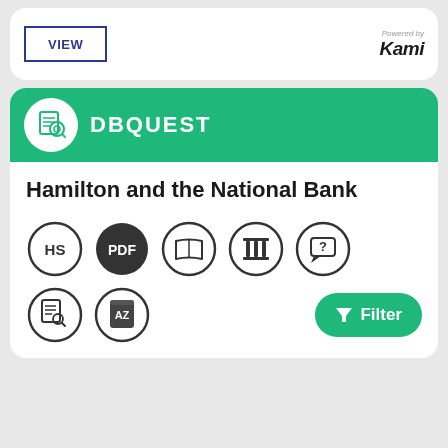[Figure (screenshot): VIEW button with blue border and Kami logo (powered by Kami) in top card]
[Figure (screenshot): DBQuest card with green header containing DBQuest logo icon and DBQUEST title, book title 'Hamilton and the National Bank', and a row of circle icons (HS, PDF, book, column, question mark, document search, AZ dictionary) plus a green Filter button]